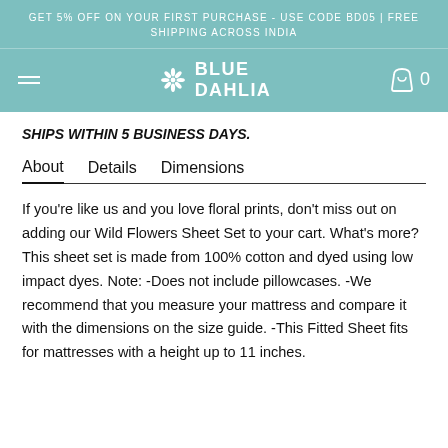GET 5% OFF ON YOUR FIRST PURCHASE - USE CODE BD05 | FREE SHIPPING ACROSS INDIA
[Figure (logo): Blue Dahlia logo with snowflake icon and navigation bar on teal background]
SHIPS WITHIN 5 BUSINESS DAYS.
About   Details   Dimensions
If you're like us and you love floral prints, don't miss out on adding our Wild Flowers Sheet Set to your cart. What's more? This sheet set is made from 100% cotton and dyed using low impact dyes. Note: -Does not include pillowcases. -We recommend that you measure your mattress and compare it with the dimensions on the size guide. -This Fitted Sheet fits for mattresses with a height up to 11 inches.